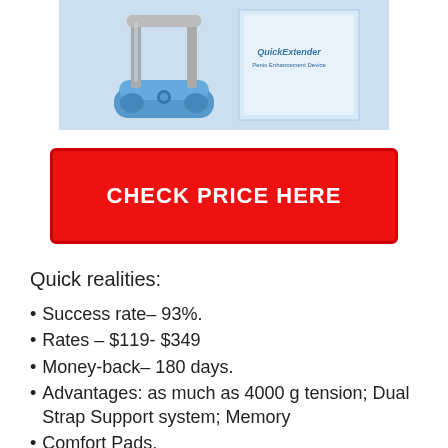[Figure (photo): Product photo of QuickExtender Pro device in blue color with metal rods, shown next to its product box packaging against a light blue/grey background.]
CHECK PRICE HERE
Quick realities:
Success rate– 93%.
Rates – $119- $349
Money-back– 180 days.
Advantages: as much as 4000 g tension; Dual Strap Support system; Memory
Comfort Pads.
Delivery: Free worldwide shipping.